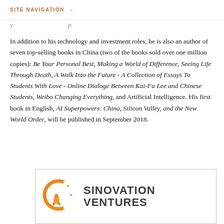SITE NAVIGATION →
In addition to his technology and investment roles, he is also an author of seven top-selling books in China (two of the books sold over one million copies): Be Your Personal Best, Making a World of Difference, Seeing Life Through Death, A Walk Into the Future - A Collection of Essays To Students With Love - Online Dialoge Between Kai-Fu Lee and Chinese Students, Weibo Changing Everything, and Artificial Intelligence. His first book in English, AI Superpowers: China, Silicon Valley, and the New World Order, will be published in September 2018.
[Figure (logo): Sinovation Ventures logo with orange crescent/C shape and rocket icon on the left, and bold dark gray text reading SINOVATION VENTURES on the right]